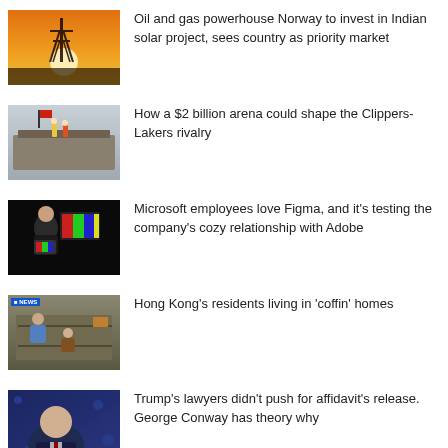[Figure (photo): Silhouette of electricity pylon against orange sunset sky]
Oil and gas powerhouse Norway to invest in Indian solar project, sees country as priority market
[Figure (photo): Construction workers at a large arena construction site]
How a $2 billion arena could shape the Clippers-Lakers rivalry
[Figure (photo): Person holding a colorful screen in a dark studio setting]
Microsoft employees love Figma, and it’s testing the company’s cozy relationship with Adobe
[Figure (photo): Sky News footage of people in a small cramped room (coffin homes in Hong Kong)]
Hong Kong’s residents living in ‘coffin’ homes
[Figure (photo): CNN broadcast showing a man in suit, with CNN logo visible]
Trump’s lawyers didn’t push for affidavit’s release. George Conway has theory why